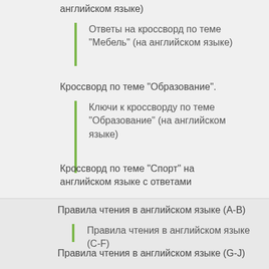английском языке)
Ответы на кроссворд по теме "Мебель" (на английском языке)
Кроссворд по теме "Образование".
Ключи к кроссворду по теме "Образование" (на английском языке)
Кроссворд по теме "Спорт" на английском языке с ответами
Правила чтения в английском языке (A-B)
Правила чтения в английском языке (C-F)
Правила чтения в английском языке (G-J)
Правила чтения в английском языке (K-O)